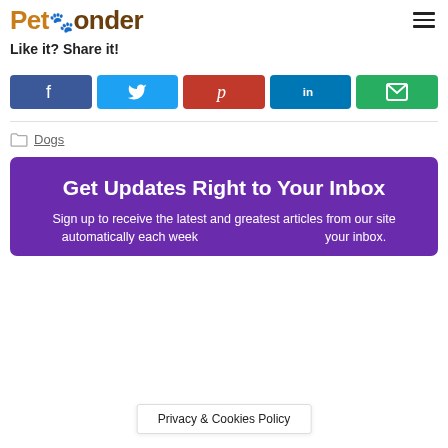PetPonder
Like it? Share it!
[Figure (infographic): Row of five social share buttons: Facebook (dark blue, f icon), Twitter (light blue, bird icon), Pinterest (red, p icon), LinkedIn (blue, in icon), Email (green, envelope icon)]
Dogs
Get Updates Right to Your Inbox
Sign up to receive the latest and greatest articles from our site automatically each week your inbox.
Privacy & Cookies Policy